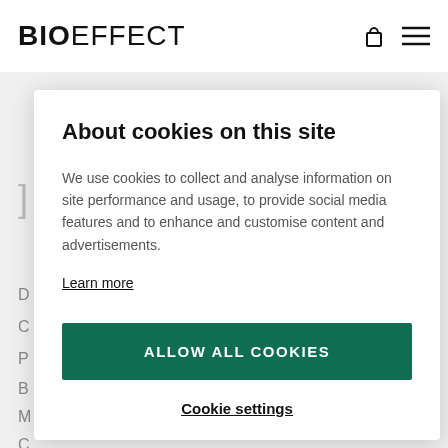BIOEFFECT
About cookies on this site
We use cookies to collect and analyse information on site performance and usage, to provide social media features and to enhance and customise content and advertisements.
Learn more
ALLOW ALL COOKIES
Cookie settings